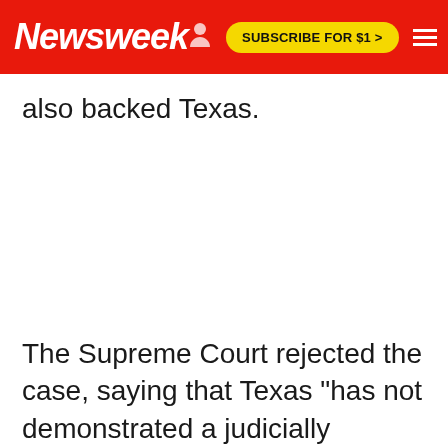Newsweek | SUBSCRIBE FOR $1 >
also backed Texas.
The Supreme Court rejected the case, saying that Texas "has not demonstrated a judicially